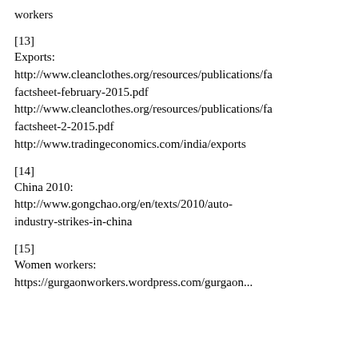workers
[13]
Exports:
http://www.cleanclothes.org/resources/publications/factsheet-february-2015.pdf
http://www.cleanclothes.org/resources/publications/factsheet-2-2015.pdf
http://www.tradingeconomics.com/india/exports
[14]
China 2010:
http://www.gongchao.org/en/texts/2010/auto-industry-strikes-in-china
[15]
Women workers:
https://gurgaonworkers.wordpress.com/gurgaon...